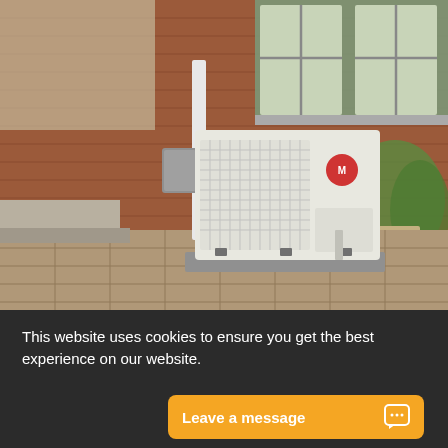[Figure (photo): Outdoor Mitsubishi heat pump / air conditioning unit installed on a paver patio next to a red brick building. The white boxy unit sits on a grey pad with conduit running up the wall. Green plants and a planter pot are visible in the background.]
This website uses cookies to ensure you get the best experience on our website.
Leave a message